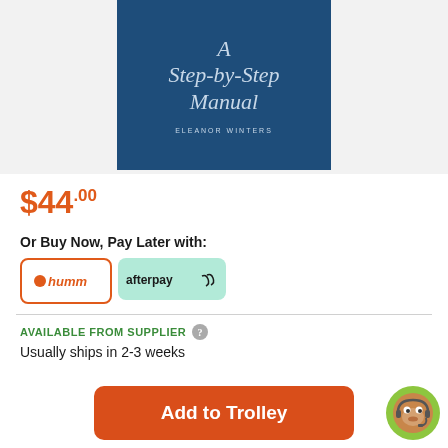[Figure (illustration): Book cover with dark blue background showing script text 'A Step-by-Step Manual' and author name 'ELEANOR WINTERS' in light blue/silver text]
$44.00
Or Buy Now, Pay Later with:
[Figure (logo): humm payment logo in orange]
[Figure (logo): afterpay payment logo on mint green background]
AVAILABLE FROM SUPPLIER
Usually ships in 2-3 weeks
Add to Trolley